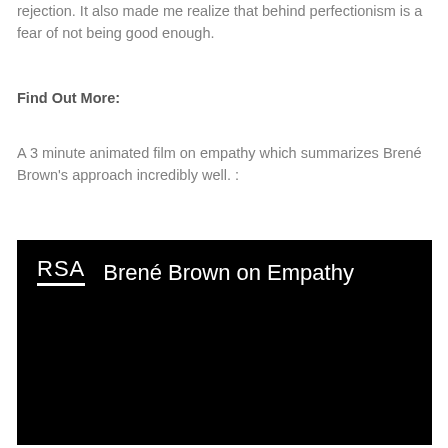rejection. It also made me realize that behind perfectionism is a fear of not being good enough.
Find Out More:
A 3 minute animated film on empathy which summarizes Brené Brown's approach incredibly well. :
[Figure (screenshot): A video thumbnail with a black background showing the RSA logo on the left and the title 'Brené Brown on Empathy' in white text on the right.]